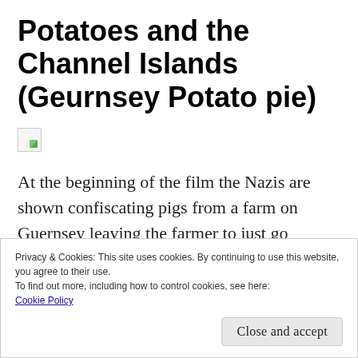Potatoes and the Channel Islands (Geurnsey Potato pie)
[Figure (illustration): Broken/missing image placeholder icon]
At the beginning of the film the Nazis are shown confiscating pigs from a farm on Guernsey leaving the farmer to just go potatoes. Jersey royals grown on the
Privacy & Cookies: This site uses cookies. By continuing to use this website, you agree to their use.
To find out more, including how to control cookies, see here:
Cookie Policy
Close and accept